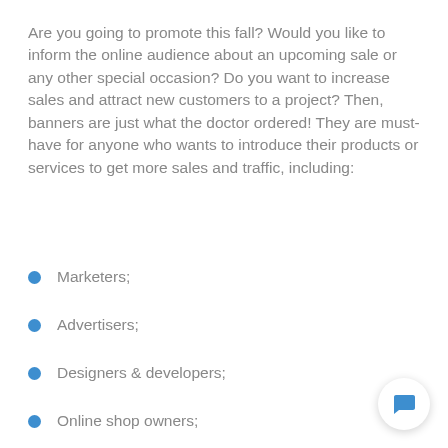Are you going to promote this fall? Would you like to inform the online audience about an upcoming sale or any other special occasion? Do you want to increase sales and attract new customers to a project? Then, banners are just what the doctor ordered! They are must-have for anyone who wants to introduce their products or services to get more sales and traffic, including:
Marketers;
Advertisers;
Designers & developers;
Online shop owners;